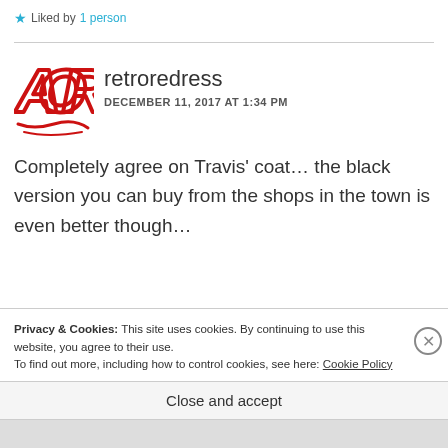Liked by 1 person
[Figure (logo): AOR avatar logo in red hand-drawn lettering]
retroredress
DECEMBER 11, 2017 AT 1:34 PM
Completely agree on Travis' coat... the black version you can buy from the shops in the town is even better though…
Privacy & Cookies: This site uses cookies. By continuing to use this website, you agree to their use. To find out more, including how to control cookies, see here: Cookie Policy
Close and accept